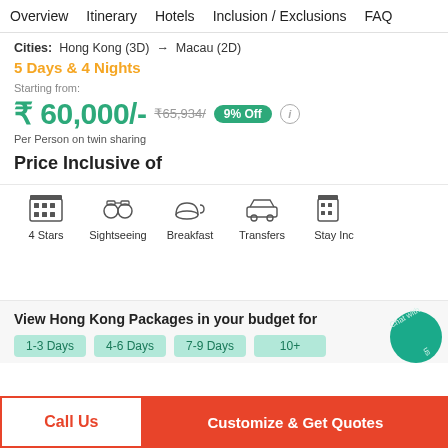Overview  Itinerary  Hotels  Inclusion / Exclusions  FAQ
Cities: Hong Kong (3D) → Macau (2D)
5 Days & 4 Nights
Starting from:
₹ 60,000/-  ₹65,934/  9% Off
Per Person on twin sharing
Price Inclusive of
4 Stars  Sightseeing  Breakfast  Transfers  Stay Inc
View Hong Kong Packages in your budget for
Call Us
Customize & Get Quotes